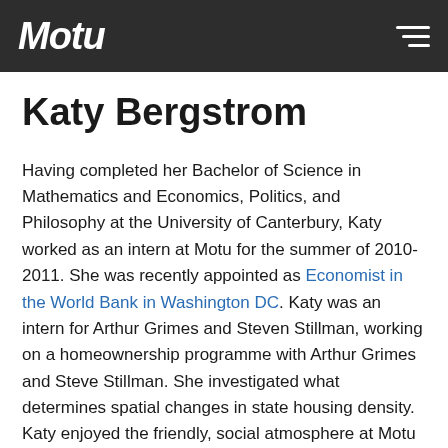Motu
Katy Bergstrom
Having completed her Bachelor of Science in Mathematics and Economics, Politics, and Philosophy at the University of Canterbury, Katy worked as an intern at Motu for the summer of 2010-2011. She was recently appointed as Economist in the World Bank in Washington DC. Katy was an intern for Arthur Grimes and Steven Stillman, working on a homeownership programme with Arthur Grimes and Steve Stillman. She investigated what determines spatial changes in state housing density. Katy enjoyed the friendly, social atmosphere at Motu and